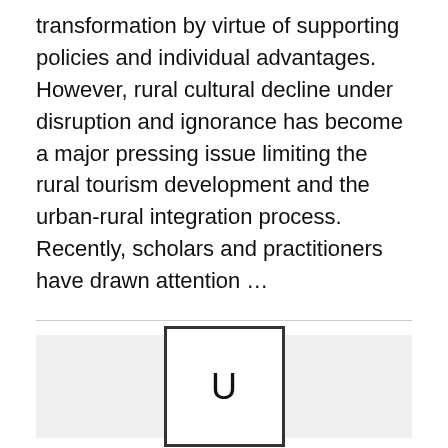transformation by virtue of supporting policies and individual advantages. However, rural cultural decline under disruption and ignorance has become a major pressing issue limiting the rural tourism development and the urban-rural integration process. Recently, scholars and practitioners have drawn attention …
[Figure (other): A light gray placeholder box containing a small white square with the letter U inside, resembling an image placeholder or unavailable image icon.]